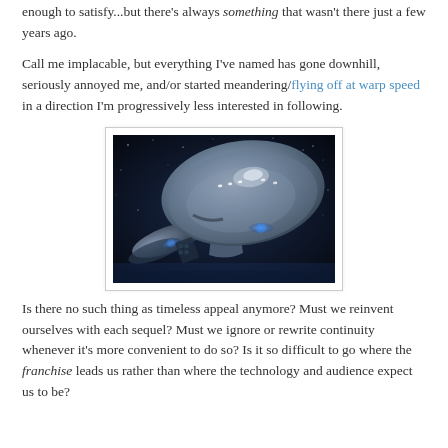enough to satisfy...but there's always something that wasn't there just a few years ago.
Call me implacable, but everything I've named has gone downhill, seriously annoyed me, and/or started meandering/flying off at warp speed in a direction I'm progressively less interested in following.
[Figure (photo): A Star Trek starship (Enterprise) viewed from below at an angle, against a dark starfield background, with blue glowing engine details visible.]
Is there no such thing as timeless appeal anymore? Must we reinvent ourselves with each sequel? Must we ignore or rewrite continuity whenever it's more convenient to do so? Is it so difficult to go where the franchise leads us rather than where the technology and audience expect us to be?